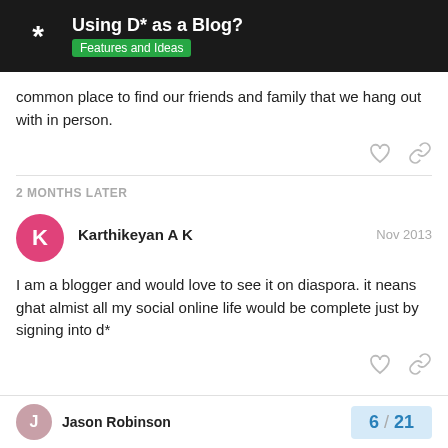Using D* as a Blog? Features and Ideas
common place to find our friends and family that we hang out with in person.
2 MONTHS LATER
Karthikeyan A K   Nov 2013
I am a blogger and would love to see it on diaspora. it neans ghat almist all my social online life would be complete just by signing into d*
Jason Robinson   6 / 21